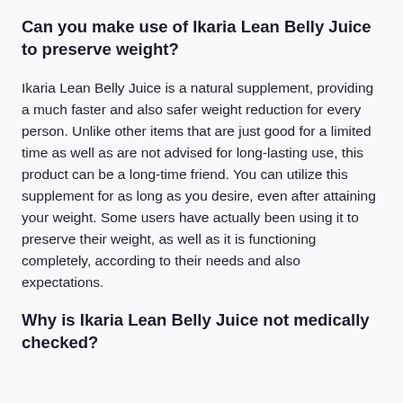Can you make use of Ikaria Lean Belly Juice to preserve weight?
Ikaria Lean Belly Juice is a natural supplement, providing a much faster and also safer weight reduction for every person. Unlike other items that are just good for a limited time as well as are not advised for long-lasting use, this product can be a long-time friend. You can utilize this supplement for as long as you desire, even after attaining your weight. Some users have actually been using it to preserve their weight, as well as it is functioning completely, according to their needs and also expectations.
Why is Ikaria Lean Belly Juice not medically checked?